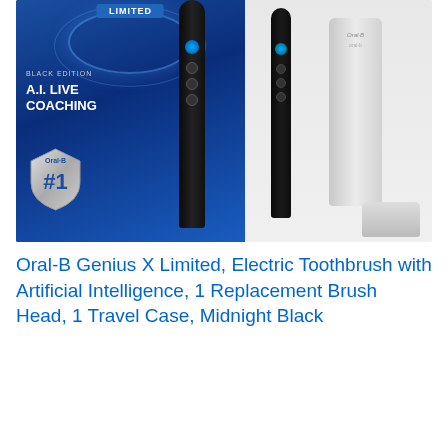[Figure (photo): Product photo of Oral-B Genius X Limited electric toothbrush in Midnight Black. Shows product box (blue with 'BLACK EDITION' and 'A.I. LIVE COACHING' text, Oral-B #1 shield logo), the black toothbrush handle, a second black handle, a silver travel case, and a white charging stand, all on white/light gray background.]
Oral-B Genius X Limited, Electric Toothbrush with Artificial Intelligence, 1 Replacement Brush Head, 1 Travel Case, Midnight Black
View on Amazon